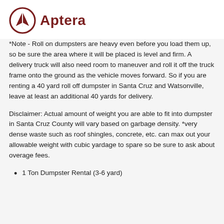[Figure (logo): Aptera logo: dark red circle with white A arrow icon, followed by bold dark red text 'Aptera']
Note - Roll on dumpsters are heavy even before you load them up, so be sure the area where it will be placed is level and firm. A delivery truck will also need room to maneuver and roll it off the truck frame onto the ground as the vehicle moves forward. So if you are renting a 40 yard roll off dumpster in Santa Cruz and Watsonville, leave at least an additional 40 yards for delivery.
Disclaimer: Actual amount of weight you are able to fit into dumpster in Santa Cruz County will vary based on garbage density. *very dense waste such as roof shingles, concrete, etc. can max out your allowable weight with cubic yardage to spare so be sure to ask about overage fees.
1 Ton Dumpster Rental (3-6 yard)